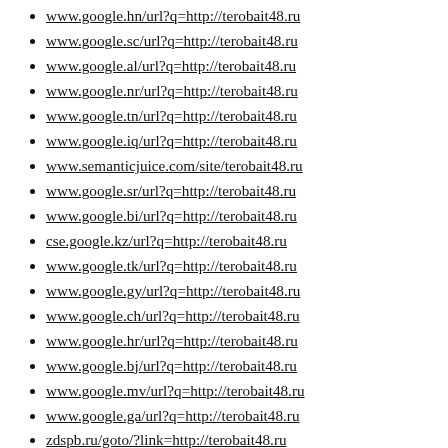www.google.hn/url?q=http://terobait48.ru
www.google.sc/url?q=http://terobait48.ru
www.google.al/url?q=http://terobait48.ru
www.google.nr/url?q=http://terobait48.ru
www.google.tn/url?q=http://terobait48.ru
www.google.iq/url?q=http://terobait48.ru
www.semanticjuice.com/site/terobait48.ru
www.google.sr/url?q=http://terobait48.ru
www.google.bi/url?q=http://terobait48.ru
cse.google.kz/url?q=http://terobait48.ru
www.google.tk/url?q=http://terobait48.ru
www.google.gy/url?q=http://terobait48.ru
www.google.ch/url?q=http://terobait48.ru
www.google.hr/url?q=http://terobait48.ru
www.google.bj/url?q=http://terobait48.ru
www.google.mv/url?q=http://terobait48.ru
www.google.ga/url?q=http://terobait48.ru
zdspb.ru/goto/?link=http://terobait48.ru
mosvedi.ru/url/?url=http://terobait48.ru